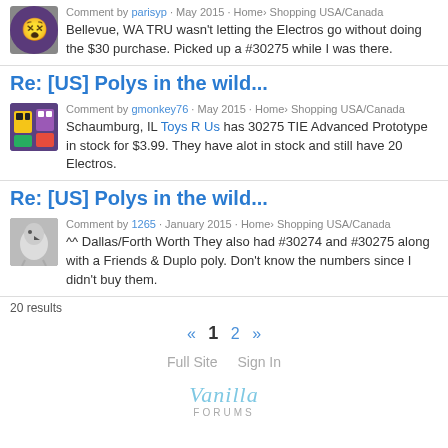Comment by parisyp · May 2015 · Home› Shopping USA/Canada
Bellevue, WA TRU wasn't letting the Electros go without doing the $30 purchase. Picked up a #30275 while I was there.
Re: [US] Polys in the wild...
Comment by gmonkey76 · May 2015 · Home› Shopping USA/Canada
Schaumburg, IL Toys R Us has 30275 TIE Advanced Prototype in stock for $3.99. They have alot in stock and still have 20 Electros.
Re: [US] Polys in the wild...
Comment by 1265 · January 2015 · Home› Shopping USA/Canada
^^ Dallas/Forth Worth They also had #30274 and #30275 along with a Friends & Duplo poly. Don't know the numbers since I didn't buy them.
20 results
« 1 2 »
Full Site   Sign In
[Figure (logo): Vanilla Forums logo]